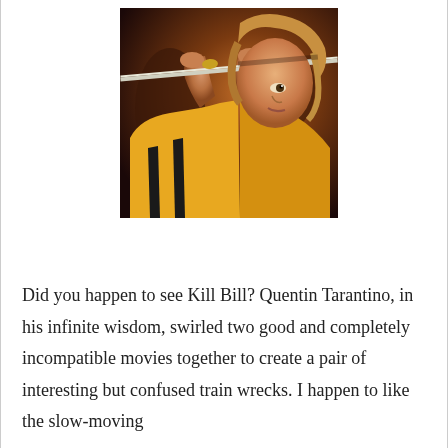[Figure (photo): A woman with long blonde hair in a yellow tracksuit with black stripes holds a samurai sword up to her face, looking intensely to the side. Scene from Kill Bill film.]
Did you happen to see Kill Bill? Quentin Tarantino, in his infinite wisdom, swirled two good and completely incompatible movies together to create a pair of interesting but confused train wrecks. I happen to like the slow-moving